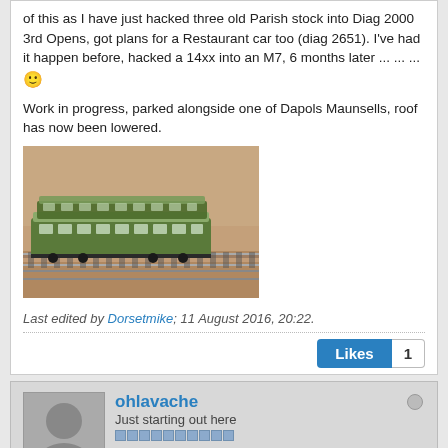of this as I have just hacked three old Parish stock into Diag 2000 3rd Opens, got plans for a Restaurant car too (diag 2651). I've had it happen before, hacked a 14xx into an M7, 6 months later ... ... ... 🙂
Work in progress, parked alongside one of Dapols Maunsells, roof has now been lowered.
[Figure (photo): Model railway photo showing two green passenger coaches on a model track, parked alongside each other, viewed from an angle. Brown/tan background.]
Last edited by Dorsetmike; 11 August 2016, 20:22.
Likes 1
ohlavache
Just starting out here
Join Date: Jun 2016  Posts: 11
17 August 2016, 13:37
#53
Originally posted by 4940